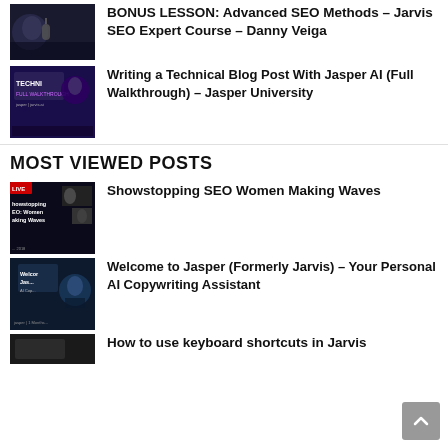BONUS LESSON: Advanced SEO Methods – Jarvis SEO Expert Course – Danny Veiga
Writing a Technical Blog Post With Jasper AI (Full Walkthrough) – Jasper University
MOST VIEWED POSTS
Showstopping SEO Women Making Waves
Welcome to Jasper (Formerly Jarvis) – Your Personal AI Copywriting Assistant
How to use keyboard shortcuts in Jarvis